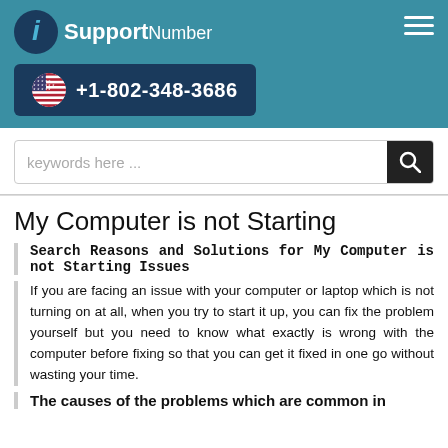iSupportNumber +1-802-348-3686
[Figure (screenshot): Search box with placeholder text 'keywords here ...' and a search icon button]
My Computer is not Starting
Search Reasons and Solutions for My Computer is not Starting Issues
If you are facing an issue with your computer or laptop which is not turning on at all, when you try to start it up, you can fix the problem yourself but you need to know what exactly is wrong with the computer before fixing so that you can get it fixed in one go without wasting your time.
The causes of the problems which are common in...